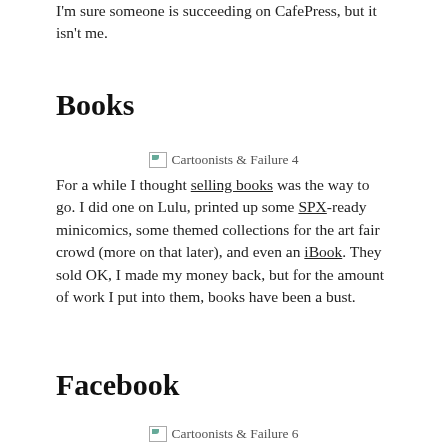I'm sure someone is succeeding on CafePress, but it isn't me.
Books
[Figure (photo): Broken image placeholder labeled 'Cartoonists & Failure 4']
For a while I thought selling books was the way to go. I did one on Lulu, printed up some SPX-ready minicomics, some themed collections for the art fair crowd (more on that later), and even an iBook. They sold OK, I made my money back, but for the amount of work I put into them, books have been a bust.
Facebook
[Figure (photo): Broken image placeholder labeled 'Cartoonists & Failure 6']